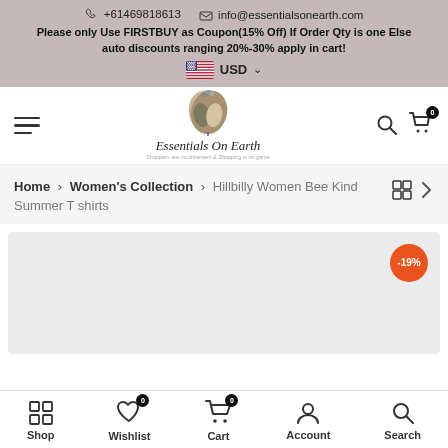+61469818613  info@essentialsonearth.com  Please only Use FIRSTBUY as Coupon(15% Off) If Order Qty is one Else auto discounts ranging 20%-30% apply in cart!  USD
[Figure (logo): Essentials On Earth logo with leaf/heart design and tagline: Shoppers are no dreamers & Shopping is no game]
Home > Women's Collection > Hillbilly Women Bee Kind Summer T shirts
[Figure (photo): Product image area with -19% discount badge in orange circle]
Shop  Wishlist (0)  Cart (0)  Account  Search